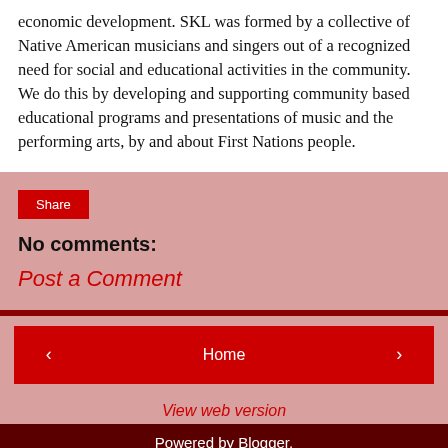economic development. SKL was formed by a collective of Native American musicians and singers out of a recognized need for social and educational activities in the community. We do this by developing and supporting community based educational programs and presentations of music and the performing arts, by and about First Nations people.
Share
No comments:
Post a Comment
‹
Home
›
View web version
Powered by Blogger.